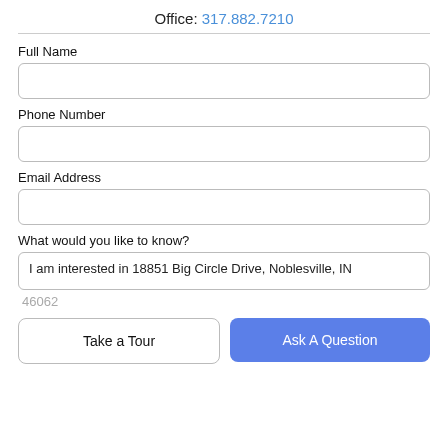Office: 317.882.7210
Full Name
Phone Number
Email Address
What would you like to know?
I am interested in 18851 Big Circle Drive, Noblesville, IN 46062
Take a Tour
Ask A Question